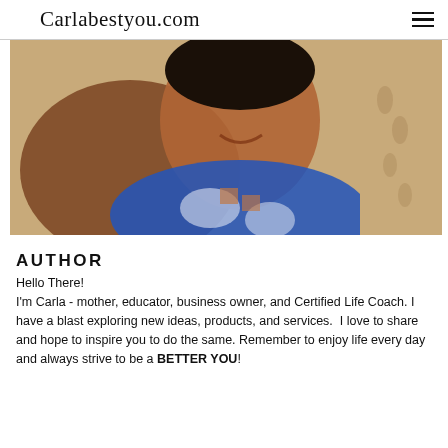Carlabestyou.com
[Figure (photo): A woman smiling at the beach, wearing a blue and white tie-dye swimsuit, with sand and footprints visible in the background.]
AUTHOR
Hello There!
I'm Carla - mother, educator, business owner, and Certified Life Coach. I have a blast exploring new ideas, products, and services.  I love to share and hope to inspire you to do the same. Remember to enjoy life every day and always strive to be a BETTER YOU!